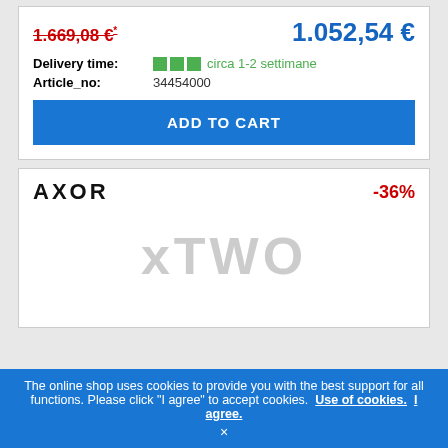1.669,08 €*  (strikethrough, old price)  1.052,54 €  (new price)
Delivery time: circa 1-2 settimane
Article_no: 34454000
ADD TO CART
[Figure (logo): AXOR brand logo in bold black text]
-36%
[Figure (other): xTWO watermark text in light gray]
The online shop uses cookies to provide you with the best support for all functions. Please click "I agree" to accept cookies. Use of cookies. I agree.